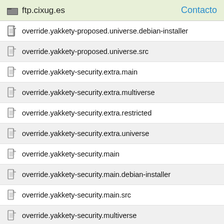ftp.cixug.es  Contacto
override.yakkety-proposed.universe.debian-installer
override.yakkety-proposed.universe.src
override.yakkety-security.extra.main
override.yakkety-security.extra.multiverse
override.yakkety-security.extra.restricted
override.yakkety-security.extra.universe
override.yakkety-security.main
override.yakkety-security.main.debian-installer
override.yakkety-security.main.src
override.yakkety-security.multiverse
override.yakkety-security.multiverse.debian-installer
override.yakkety-security.multiverse.src